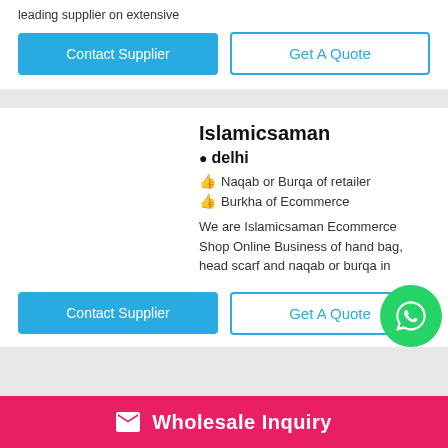leading supplier on extensive
Contact Supplier
Get A Quote
Islamicsaman
delhi
Naqab or Burqa of retailer
Burkha of Ecommerce
We are Islamicsaman Ecommerce Shop Online Business of hand bag, head scarf and naqab or burqa in
Contact Supplier
Get A Quote
Wholesale Inquiry